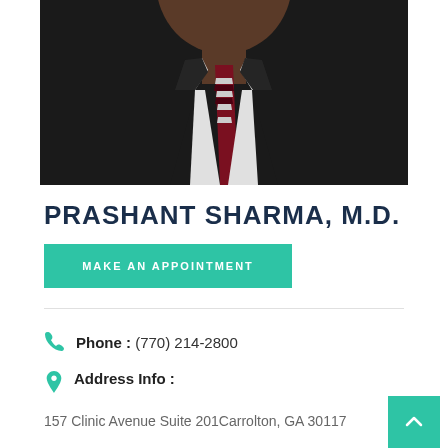[Figure (photo): Professional headshot of Dr. Prashant Sharma, M.D., wearing a dark suit and a red/gray striped tie, photographed against a dark background. Only the lower face, neck, and upper body are visible.]
PRASHANT SHARMA, M.D.
MAKE AN APPOINTMENT
Phone :  (770) 214-2800
Address Info :
157 Clinic Avenue Suite 201Carrolton, GA 30117